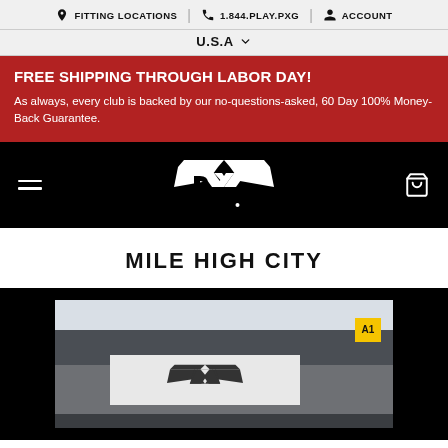FITTING LOCATIONS | 1.844.PLAY.PXG | ACCOUNT
U.S.A
FREE SHIPPING THROUGH LABOR DAY!
As always, every club is backed by our no-questions-asked, 60 Day 100% Money-Back Guarantee.
[Figure (logo): PXG logo in white on black background with hamburger menu and cart icon]
MILE HIGH CITY
[Figure (photo): Exterior photo of a PXG store building showing the PXG logo on a storefront sign, with a yellow A1 gate marker visible]